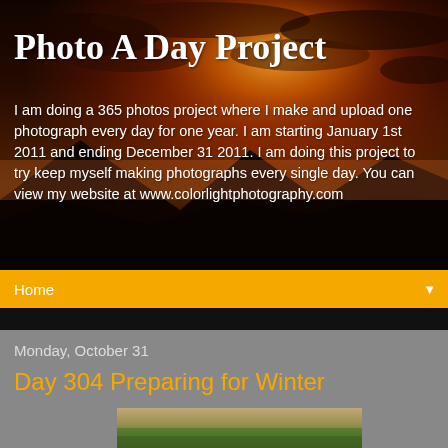[Figure (photo): Sunset/sunrise banner photo with dramatic orange and red sky, dark storm clouds, and mountain silhouette in the foreground]
Photo A Day Project
I am doing a 365 photos project where I make and upload one photograph every day for one year. I am starting January 1st 2011 and ending December 31 2011. I am doing this project to try keep myself making photographs every single day. You can view my website at www.colorlightphotography.com
Home ▼
Monday, October 31
Day 304 Preparing for Winter
[Figure (photo): Partial view of a photo showing grass and what appears to be an animal or object, cut off at the bottom of the page]